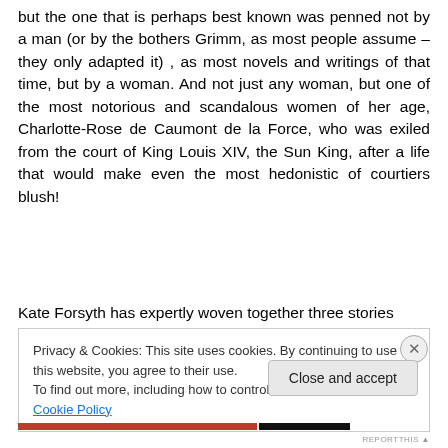but the one that is perhaps best known was penned not by a man (or by the bothers Grimm, as most people assume – they only adapted it) , as most novels and writings of that time, but by a woman. And not just any woman, but one of the most notorious and scandalous women of her age, Charlotte-Rose de Caumont de la Force, who was exiled from the court of King Louis XIV, the Sun King, after a life that would make even the most hedonistic of courtiers blush!
Kate Forsyth has expertly woven together three stories
Privacy & Cookies: This site uses cookies. By continuing to use this website, you agree to their use.
To find out more, including how to control cookies, see here: Cookie Policy